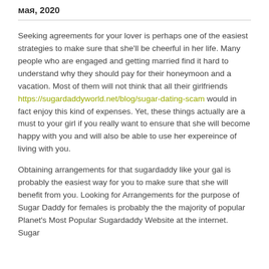мая, 2020
Seeking agreements for your lover is perhaps one of the easiest strategies to make sure that she'll be cheerful in her life. Many people who are engaged and getting married find it hard to understand why they should pay for their honeymoon and a vacation. Most of them will not think that all their girlfriends https://sugardaddyworld.net/blog/sugar-dating-scam would in fact enjoy this kind of expenses. Yet, these things actually are a must to your girl if you really want to ensure that she will become happy with you and will also be able to use her expereince of living with you.
Obtaining arrangements for that sugardaddy like your gal is probably the easiest way for you to make sure that she will benefit from you. Looking for Arrangements for the purpose of Sugar Daddy for females is probably the the majority of popular Planet's Most Popular Sugardaddy Website at the internet. Sugar